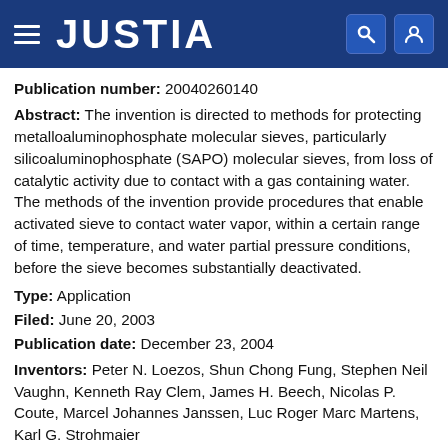JUSTIA
Publication number: 20040260140
Abstract: The invention is directed to methods for protecting metalloaluminophosphate molecular sieves, particularly silicoaluminophosphate (SAPO) molecular sieves, from loss of catalytic activity due to contact with a gas containing water. The methods of the invention provide procedures that enable activated sieve to contact water vapor, within a certain range of time, temperature, and water partial pressure conditions, before the sieve becomes substantially deactivated.
Type: Application
Filed: June 20, 2003
Publication date: December 23, 2004
Inventors: Peter N. Loezos, Shun Chong Fung, Stephen Neil Vaughn, Kenneth Ray Clem, James H. Beech, Nicolas P. Coute, Marcel Johannes Janssen, Luc Roger Marc Martens, Karl G. Strohmaier